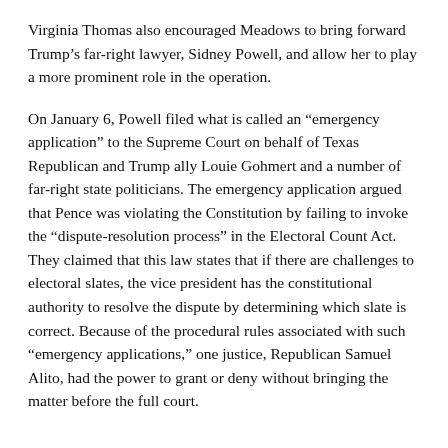Virginia Thomas also encouraged Meadows to bring forward Trump's far-right lawyer, Sidney Powell, and allow her to play a more prominent role in the operation.
On January 6, Powell filed what is called an “emergency application” to the Supreme Court on behalf of Texas Republican and Trump ally Louie Gohmert and a number of far-right state politicians. The emergency application argued that Pence was violating the Constitution by failing to invoke the “dispute-resolution process” in the Electoral Count Act. They claimed that this law states that if there are challenges to electoral slates, the vice president has the constitutional authority to resolve the dispute by determining which slate is correct. Because of the procedural rules associated with such “emergency applications,” one justice, Republican Samuel Alito, had the power to grant or deny without bringing the matter before the full court.